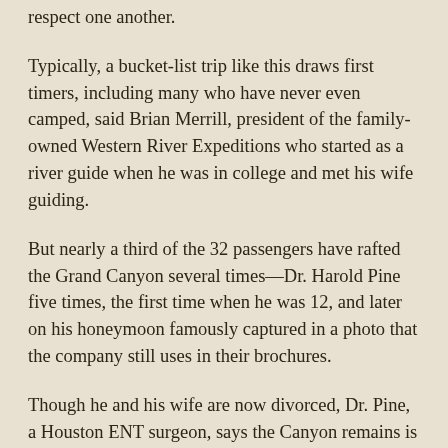respect one another.
Typically, a bucket-list trip like this draws first timers, including many who have never even camped, said Brian Merrill, president of the family-owned Western River Expeditions who started as a river guide when he was in college and met his wife guiding.
But nearly a third of the 32 passengers have rafted the Grand Canyon several times—Dr. Harold Pine five times, the first time when he was 12, and later on his honeymoon famously captured in a photo that the company still uses in their brochures.
Though he and his wife are now divorced, Dr. Pine, a Houston ENT surgeon, says the Canyon remains is a very special place to him, especially as his dad is now gone and he is able to relive memories of that first trip with his dad when he was 12 .